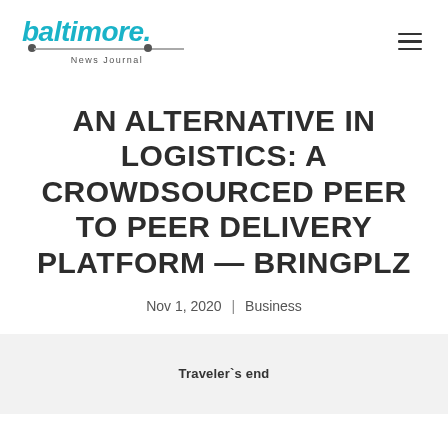baltimore. News Journal
AN ALTERNATIVE IN LOGISTICS: A CROWDSOURCED PEER TO PEER DELIVERY PLATFORM — BRINGPLZ
Nov 1, 2020 | Business
Traveler`s end